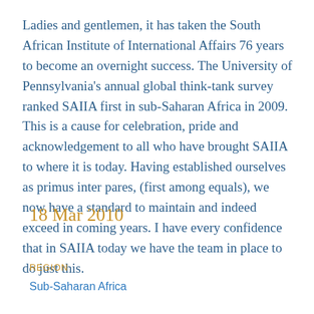Ladies and gentlemen, it has taken the South African Institute of International Affairs 76 years to become an overnight success. The University of Pennsylvania's annual global think-tank survey ranked SAIIA first in sub-Saharan Africa in 2009. This is a cause for celebration, pride and acknowledgement to all who have brought SAIIA to where it is today. Having established ourselves as primus inter pares, (first among equals), we now have a standard to maintain and indeed exceed in coming years. I have every confidence that in SAIIA today we have the team in place to do just this.
18 Mar 2010
REGION
Sub-Saharan Africa